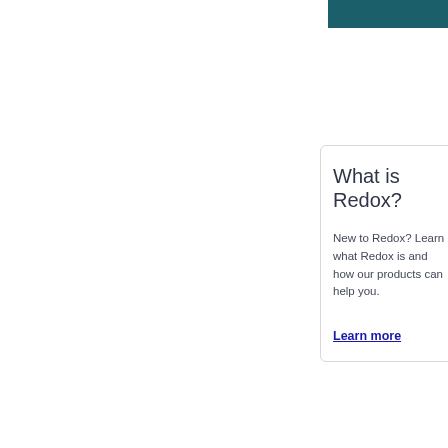What is Redox?
New to Redox? Learn what Redox is and how our products can help you.
Learn more